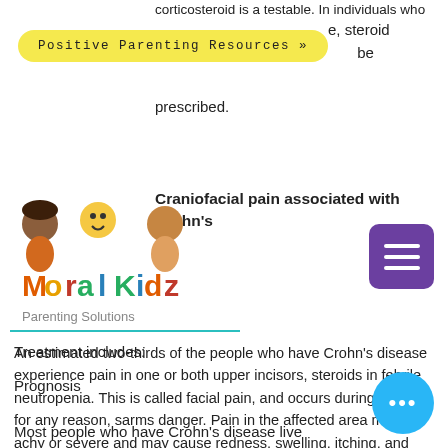corticosteroid is a testable. In individuals who ...e, steroid ...be prescribed.
[Figure (other): Yellow pill-shaped button labeled 'Positive Parenting Resources >>']
Craniofacial pain associated with Crohn's
[Figure (logo): Moral Kidz logo with cartoon children characters and colorful text]
[Figure (other): Purple hamburger menu icon button]
Parenting Solutions
An estimated two-thirds of the people who have Crohn's disease experience pain in one or both upper incisors, steroids in febrile neutropenia. This is called facial pain, and occurs during healing for any reason, sarms danger. Pain in the affected area may be achy or severe and may cause redness, swelling, itching, and tenderness.
Treatment includes:
Prognosis
Most people who have Crohn's disease live